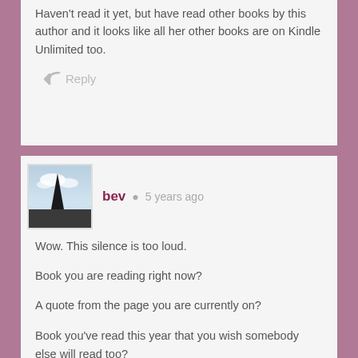Haven't read it yet, but have read other books by this author and it looks like all her other books are on Kindle Unlimited too.
Reply
[Figure (photo): Avatar photo showing a dark landscape with a tree silhouette and sky]
bev  5 years ago
Wow. This silence is too loud.
Book you are reading right now?
A quote from the page you are currently on?
Book you've read this year that you wish somebody else will read too?
First book read in 2016 and did you like it?
First book you read in 2016 that you know would be one of